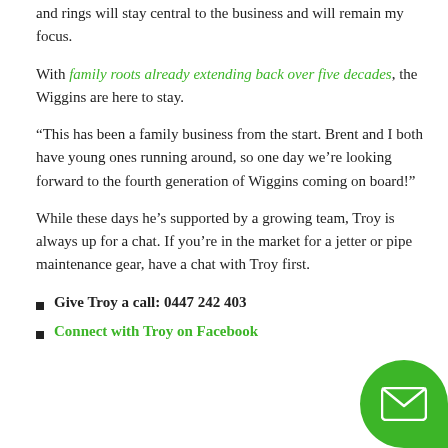and rings will stay central to the business and will remain my focus.
With family roots already extending back over five decades, the Wiggins are here to stay.
“This has been a family business from the start. Brent and I both have young ones running around, so one day we’re looking forward to the fourth generation of Wiggins coming on board!”
While these days he’s supported by a growing team, Troy is always up for a chat. If you’re in the market for a jetter or pipe maintenance gear, have a chat with Troy first.
Give Troy a call: 0447 242 403
Connect with Troy on Facebook
[Figure (illustration): Green rounded square email/chat button icon in bottom-right corner]